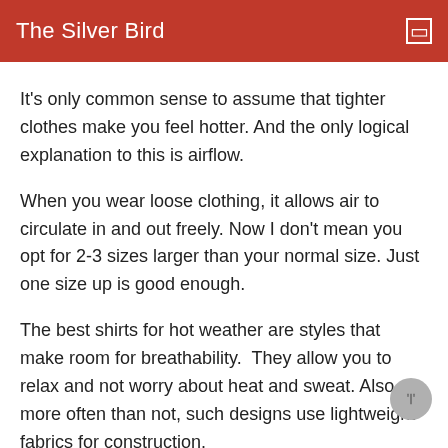The Silver Bird
It's only common sense to assume that tighter clothes make you feel hotter. And the only logical explanation to this is airflow.
When you wear loose clothing, it allows air to circulate in and out freely. Now I don't mean you opt for 2-3 sizes larger than your normal size. Just one size up is good enough.
The best shirts for hot weather are styles that make room for breathability.  They allow you to relax and not worry about heat and sweat. Also, more often than not, such designs use lightweight fabrics for construction.